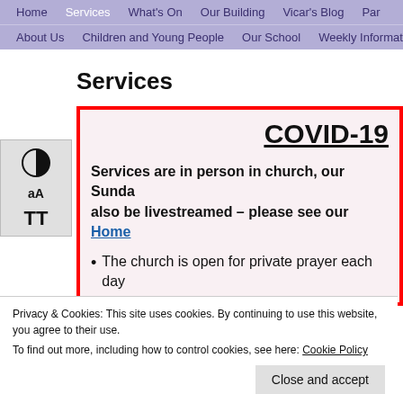Home | Services | What's On | Our Building | Vicar's Blog | Par... | About Us | Children and Young People | Our School | Weekly Informatio...
Services
COVID-19
Services are in person in church, our Sunda... also be livestreamed – please see our Home
The church is open for private prayer each day...
Privacy & Cookies: This site uses cookies. By continuing to use this website, you agree to their use. To find out more, including how to control cookies, see here: Cookie Policy
Close and accept